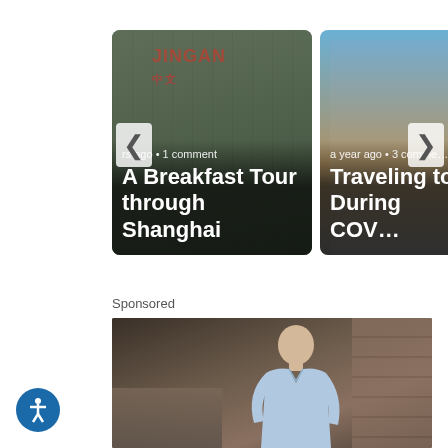[Figure (screenshot): Blog post card carousel. First card shows 'A Breakfast Tour through Shanghai' with group photo in a JINGAN-branded room. Text: 'rs ago • 1 comment'. Second card partially visible shows 'Traveling to... During COV...' with cathedral photo. Text: 'a year ago • 3 comme'. Navigation arrows on left and right.]
Sponsored
[Figure (photo): Sponsored content: an older bald man in a light blue shirt standing indoors against a wooden panel wall background.]